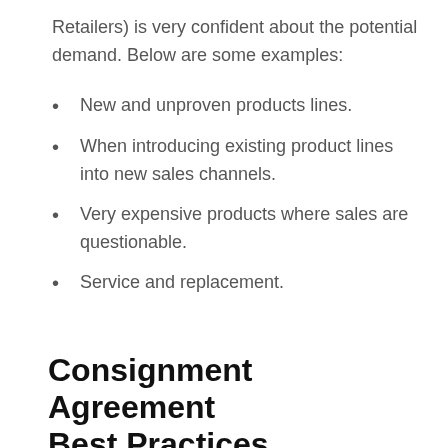Retailers) is very confident about the potential demand. Below are some examples:
New and unproven products lines.
When introducing existing product lines into new sales channels.
Very expensive products where sales are questionable.
Service and replacement.
Consignment Agreement Best Practices